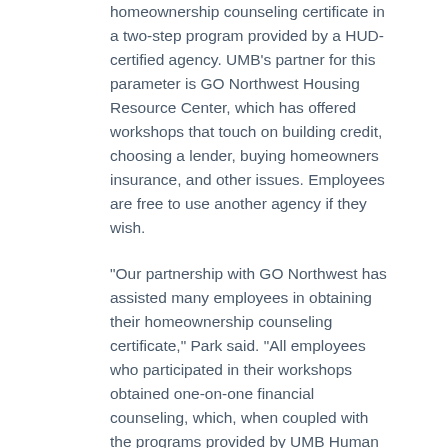homeownership counseling certificate in a two-step program provided by a HUD-certified agency. UMB's partner for this parameter is GO Northwest Housing Resource Center, which has offered workshops that touch on building credit, choosing a lender, buying homeowners insurance, and other issues. Employees are free to use another agency if they wish.
“Our partnership with GO Northwest has assisted many employees in obtaining their homeownership counseling certificate,” Park said. “All employees who participated in their workshops obtained one-on-one financial counseling, which, when coupled with the programs provided by UMB Human Resource Services, has enabled many of them to stabilize their financial status to apply for credit and save for the down payment.”
‘Near’ Is the Operative Word